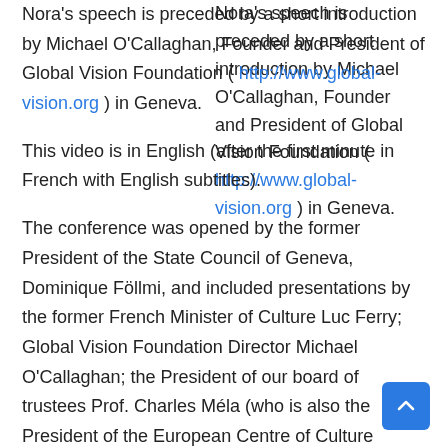Nora's speech is preceded by a short introduction by Michael O'Callaghan, Founder and President of Global Vision Foundation ( http://www.global-vision.org ) in Geneva.
This video is in English (after the first minute in French with English subtitles).
The conference was opened by the former President of the State Council of Geneva, Dominique Föllmi, and included presentations by the former French Minister of Culture Luc Ferry; Global Vision Foundation Director Michael O'Callaghan; the President of our board of trustees Prof. Charles Méla (who is also the President of the European Centre of Culture http://www.ceculture.org ); and a second member of our board of advisers, Guillaume Chavassieu (President of the Medi...